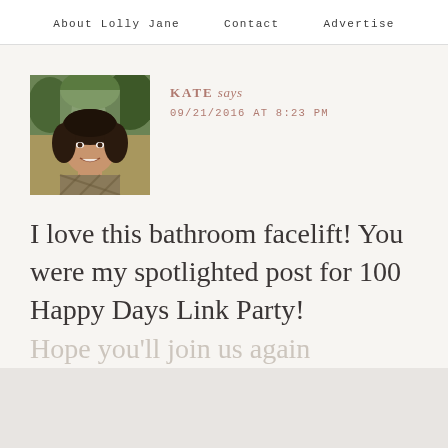About Lolly Jane   Contact   Advertise
[Figure (photo): Headshot photo of a smiling woman with dark hair, wearing a patterned top, outdoors with trees in background]
KATE says
09/21/2016 AT 8:23 PM
I love this bathroom facelift! You were my spotlighted post for 100 Happy Days Link Party!
Hope you'll join us again